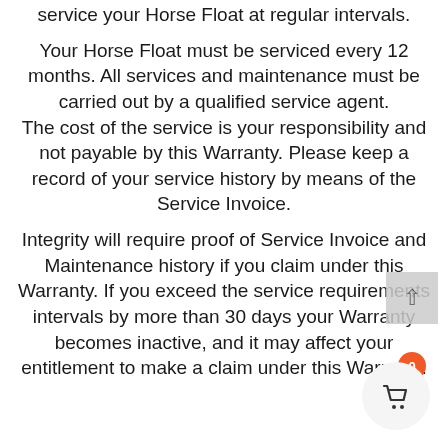service your Horse Float at regular intervals.
Your Horse Float must be serviced every 12 months. All services and maintenance must be carried out by a qualified service agent.
The cost of the service is your responsibility and not payable by this Warranty. Please keep a record of your service history by means of the Service Invoice.
Integrity will require proof of Service Invoice and Maintenance history if you claim under this Warranty. If you exceed the service requirements intervals by more than 30 days your Warranty becomes inactive, and it may affect your entitlement to make a claim under this Warranty.